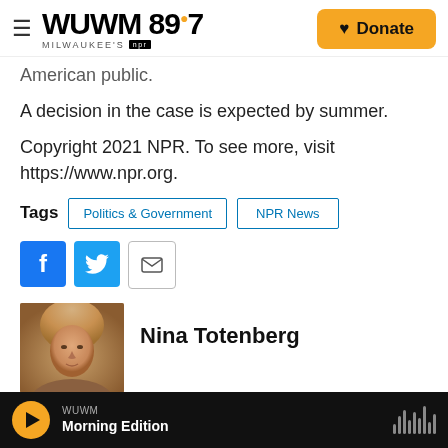WUWM 89.7 Milwaukee's NPR — Donate
American public.
A decision in the case is expected by summer.
Copyright 2021 NPR. To see more, visit https://www.npr.org.
Tags  Politics & Government  NPR News
[Figure (screenshot): Social share buttons: Facebook, Twitter, Email]
[Figure (photo): Headshot photo of Nina Totenberg]
Nina Totenberg
WUWM  Morning Edition